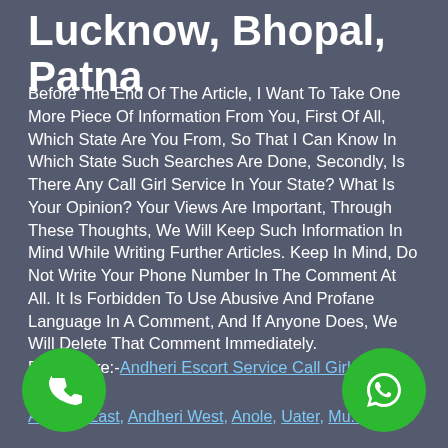Lucknow, Bhopal, Patna
Before The End Of The Article, I Want To Take One More Piece Of Information From You, First Of All, Which State Are You From, So That I Can Know In Which State Such Searches Are Done, Secondly, Is There Any Call Girl Service In Your State? What Is Your Opinion? Your Views Are Important, Through These Thoughts, We Will Keep Such Information In Mind While Writing Further Articles. Keep In Mind, Do Not Write Your Phone Number In The Comment At All. It Is Forbidden To Use Abusive And Profane Language In A Comment, And If Anyone Does, We Will Delete That Comment Immediately.
Read More:- Andheri Escort Service Call Girl
Andheri East, Andheri West, Anole, Uater, Mu...
[Figure (illustration): Green circle phone call button icon]
[Figure (illustration): Green circle WhatsApp icon]